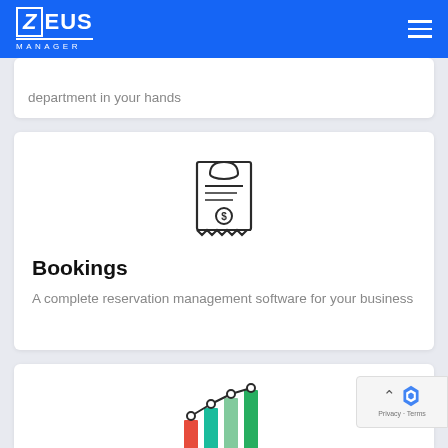ZEUS MANAGER
department in your hands
[Figure (illustration): Icon of a restaurant/hotel bill receipt with a dome serving cloche on top and a dollar sign, rendered in outline style]
Bookings
A complete reservation management software for your business
[Figure (illustration): Partial view of a bar/line chart icon with colored bars in red, teal, and green with dots on top, partially visible at bottom of page]